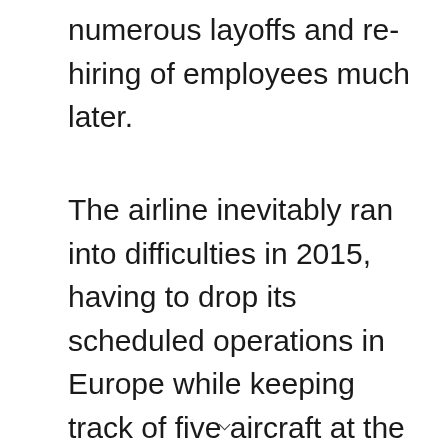numerous layoffs and re-hiring of employees much later.
The airline inevitably ran into difficulties in 2015, having to drop its scheduled operations in Europe while keeping track of five aircraft at the same time. After a few attempts, CanJet opted to cease